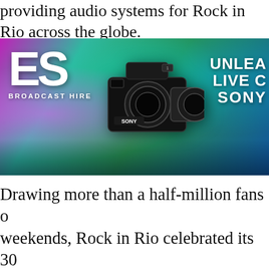providing audio systems for Rock in Rio across the globe.
[Figure (photo): ES Broadcast Hire advertisement banner featuring a Sony professional camera against a colorful concert crowd background with text 'UNLEASH LIVE C... SONY']
Drawing more than a half-million fans o... weekends, Rock in Rio celebrated its 30... at the City of Rock, a specially built ven... where the Olympic Village will be locate... Summer Olympics. As it has in years pa... Rio featured performances by some of t... names in music, including Rihanna, Elto... Metallica, Rod Stewart, Katy Perry, Joh... Sam Smith, System of a Down, Queen